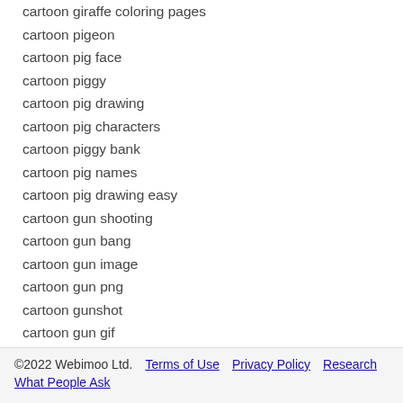cartoon giraffe coloring pages
cartoon pigeon
cartoon pig face
cartoon piggy
cartoon pig drawing
cartoon pig characters
cartoon piggy bank
cartoon pig names
cartoon pig drawing easy
cartoon gun shooting
cartoon gun bang
cartoon gun image
cartoon gun png
cartoon gunshot
cartoon gun gif
cartoon gunslinger
cartoon gunpowder
©2022 Webimoo Ltd.   Terms of Use   Privacy Policy   Research   What People Ask